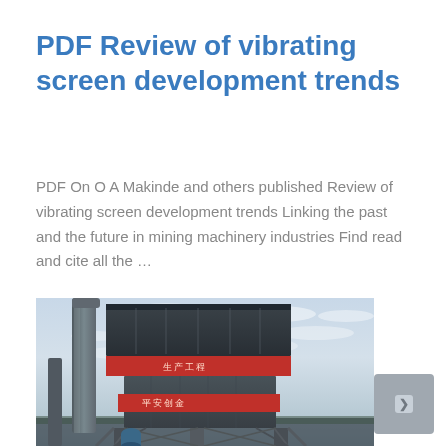PDF Review of vibrating screen development trends
PDF On O A Makinde and others published Review of vibrating screen development trends Linking the past and the future in mining machinery industries Find read and cite all the …
[Figure (photo): Photograph of an industrial vibrating screen tower structure with steel framework, red Chinese text banners reading '生产工程' and '平安创金', viewed from below against a cloudy sky.]